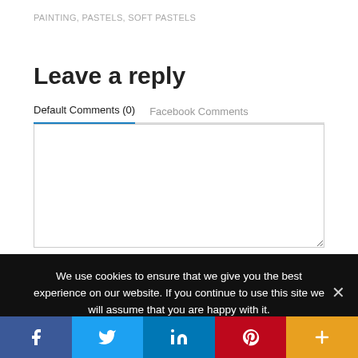PAINTING, PASTELS, SOFT PASTELS
Leave a reply
Default Comments (0)   Facebook Comments
[Figure (other): Comment text area input box]
We use cookies to ensure that we give you the best experience on our website. If you continue to use this site we will assume that you are happy with it.
[Figure (other): Social sharing bar with Facebook, Twitter, LinkedIn, Pinterest, and More buttons]